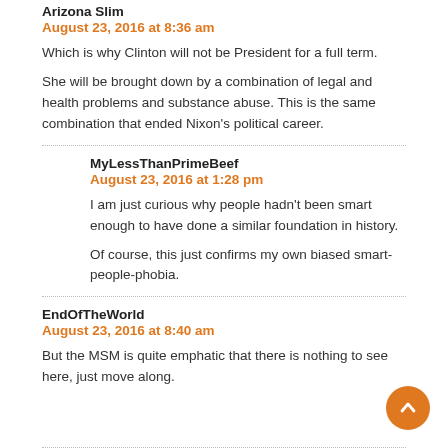Arizona Slim
August 23, 2016 at 8:36 am
Which is why Clinton will not be President for a full term.
She will be brought down by a combination of legal and health problems and substance abuse. This is the same combination that ended Nixon's political career.
MyLessThanPrimeBeef
August 23, 2016 at 1:28 pm
I am just curious why people hadn't been smart enough to have done a similar foundation in history.
Of course, this just confirms my own biased smart-people-phobia.
EndOfTheWorld
August 23, 2016 at 8:40 am
But the MSM is quite emphatic that there is nothing to see here, just move along.